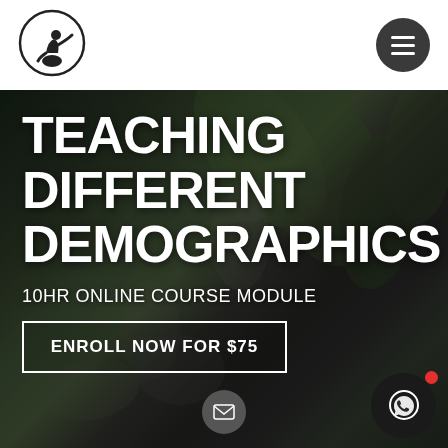[Figure (logo): Circular logo with a person sitting/exercising silhouette inside a circle outline]
[Figure (other): Hamburger menu button (three horizontal lines) on dark circular background]
[Figure (photo): Background photo of a yoga/fitness instructor helping a student outdoors with tropical plants in the background, dark overlay]
TEACHING DIFFERENT DEMOGRAPHICS
10HR ONLINE COURSE MODULE
ENROLL NOW FOR $75
[Figure (other): Email icon floating button (envelope/mail icon on dark circle)]
[Figure (other): WhatsApp icon floating button on dark circle with red notification dot]